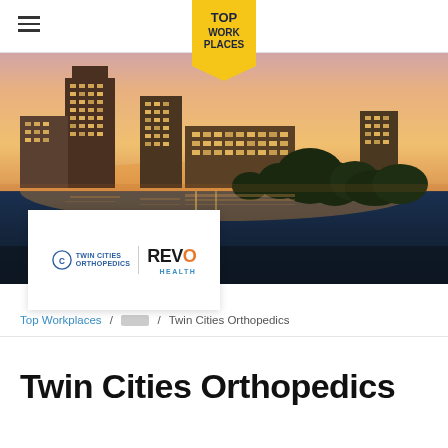Top Work Places
[Figure (photo): Twin Cities skyline at dusk/sunset with city buildings reflected in the river and trees in the foreground]
[Figure (logo): Twin Cities Orthopedics | REVO Health company logo on white card]
Top Workplaces / [breadcrumb] / Twin Cities Orthopedics
Twin Cities Orthopedics